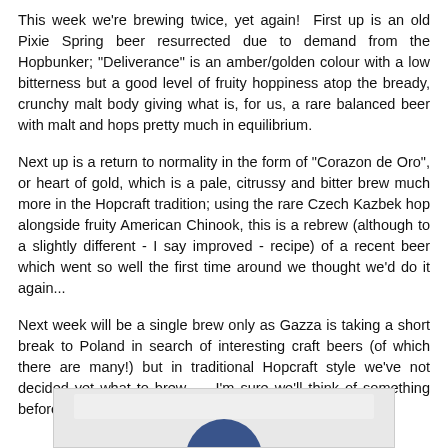This week we're brewing twice, yet again!  First up is an old Pixie Spring beer resurrected due to demand from the Hopbunker; "Deliverance" is an amber/golden colour with a low bitterness but a good level of fruity hoppiness atop the bready, crunchy malt body giving what is, for us, a rare balanced beer with malt and hops pretty much in equilibrium.
Next up is a return to normality in the form of "Corazon de Oro", or heart of gold, which is a pale, citrussy and bitter brew much more in the Hopcraft tradition; using the rare Czech Kazbek hop alongside fruity American Chinook, this is a rebrew (although to a slightly different - I say improved - recipe) of a recent beer which went so well the first time around we thought we'd do it again...
Next week will be a single brew only as Gazza is taking a short break to Poland in search of interesting craft beers (of which there are many!) but in traditional Hopcraft style we've not decided yet what to brew...  I'm sure we'll think of something before then!
[Figure (photo): Partial image preview at the bottom of the page, showing a cropped image with a blue circular element visible]